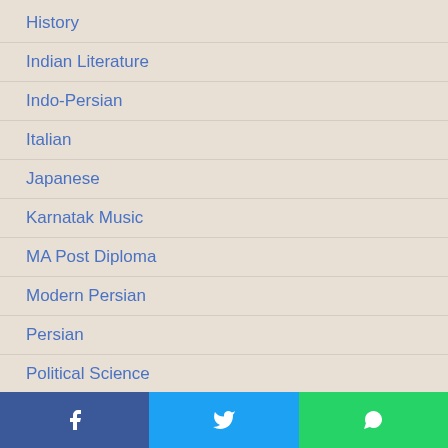History
Indian Literature
Indo-Persian
Italian
Japanese
Karnatak Music
MA Post Diploma
Modern Persian
Persian
Political Science
Psychology
Punjabi
Russian
Sanskrit
Facebook | Twitter | WhatsApp